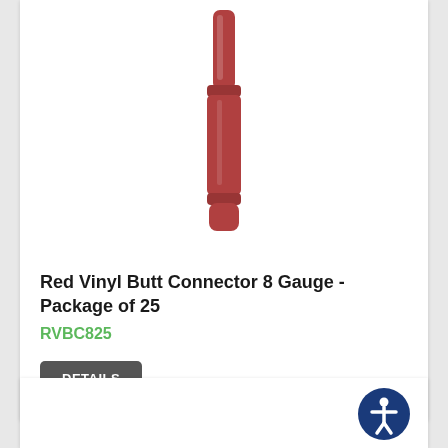[Figure (photo): Red vinyl butt connector electrical fitting, cylindrical shape with crimped center section, shown vertically oriented against white background]
Red Vinyl Butt Connector 8 Gauge - Package of 25
RVBC825
DETAILS